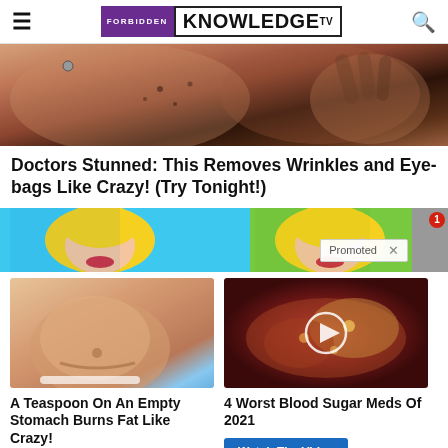FORBIDDEN KNOWLEDGE TV
[Figure (photo): Close-up photo of a woman's face/skin with dark spots and hands touching face, skincare related]
Doctors Stunned: This Removes Wrinkles and Eye-bags Like Crazy! (Try Tonight!)
[Figure (photo): Comic-style advertisement banner with illustrated woman faces on blue and green background, with Promoted label and X button]
[Figure (photo): Photo of a person's midsection/belly showing weight loss related content]
A Teaspoon On An Empty Stomach Burns Fat Like Crazy!
Find Out More
[Figure (photo): Medical/anatomical image of internal organs with a play button overlay]
4 Worst Blood Sugar Meds Of 2021
Watch The Video